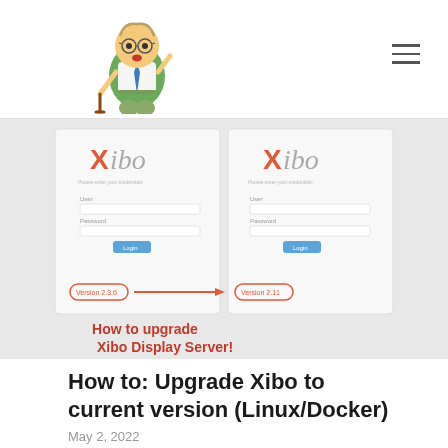[Figure (screenshot): Hero image showing two Xibo login screens side by side with an arrow pointing from version label on the left to a newer version label on the right. Bold red text reads: How to upgrade Xibo Display Server!]
How to: Upgrade Xibo to current version (Linux/Docker)
May 2, 2022